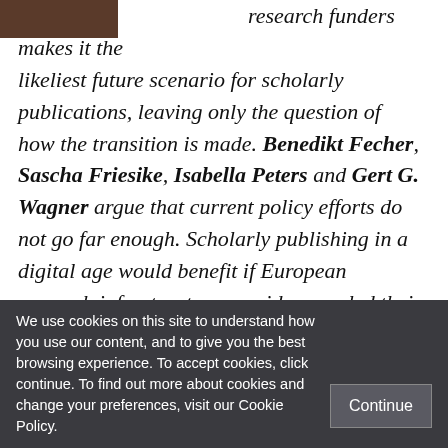[Figure (photo): Partial image visible at top-left corner, dark brownish tones]
research funders makes it the likeliest future scenario for scholarly publications, leaving only the question of how the transition is made. Benedikt Fecher, Sascha Friesike, Isabella Peters and Gert G. Wagner argue that current policy efforts do not go far enough. Scholarly publishing in a digital age would benefit if European research infrastructure providers pooled their collective efforts into a public publication
We use cookies on this site to understand how you use our content, and to give you the best browsing experience. To accept cookies, click continue. To find out more about cookies and change your preferences, visit our Cookie Policy.